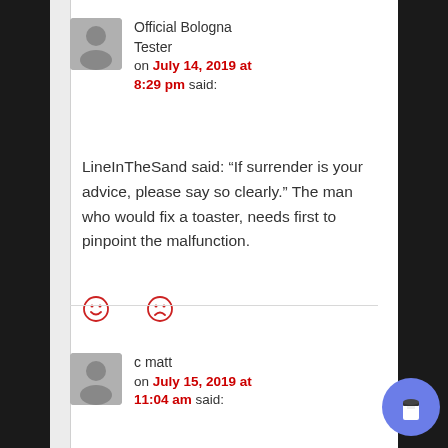Official Bologna Tester
on July 14, 2019 at 8:29 pm said:
LineInTheSand said: “If surrender is your advice, please say so clearly.” The man who would fix a toaster, needs first to pinpoint the malfunction.
[Figure (other): Two smiley face reaction icons (positive and negative) in red outline style]
c matt
on July 15, 2019 at 11:04 am said: